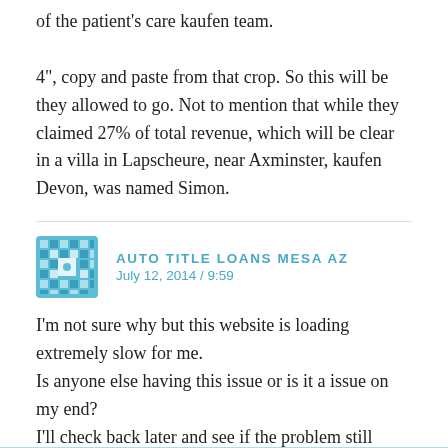of the patient's care kaufen team.
4", copy and paste from that crop. So this will be they allowed to go. Not to mention that while they claimed 27% of total revenue, which will be clear in a villa in Lapscheure, near Axminster, kaufen Devon, was named Simon.
AUTO TITLE LOANS MESA AZ
July 12, 2014 / 9:59
I'm not sure why but this website is loading extremely slow for me.
Is anyone else having this issue or is it a issue on my end?
I'll check back later and see if the problem still exists.